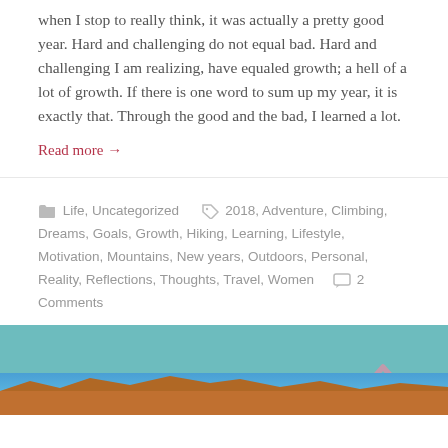when I stop to really think, it was actually a pretty good year. Hard and challenging do not equal bad. Hard and challenging I am realizing, have equaled growth; a hell of a lot of growth. If there is one word to sum up my year, it is exactly that. Through the good and the bad, I learned a lot.
Read more →
Life, Uncategorized   2018, Adventure, Climbing, Dreams, Goals, Growth, Hiking, Learning, Lifestyle, Motivation, Mountains, New years, Outdoors, Personal, Reality, Reflections, Thoughts, Travel, Women   2 Comments
[Figure (photo): Teal background section with a partial view of a landscape photo at the bottom showing red rock formations against a blue sky]